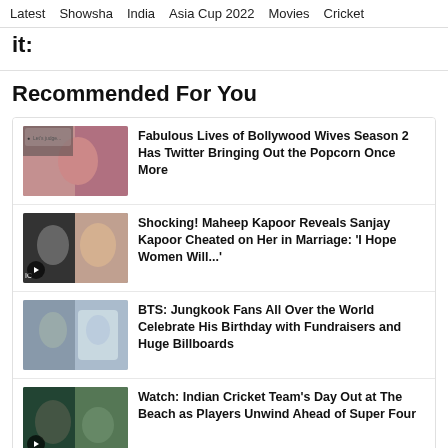Latest  Showsha  India  Asia Cup 2022  Movies  Cricket
it:
Recommended For You
Fabulous Lives of Bollywood Wives Season 2 Has Twitter Bringing Out the Popcorn Once More
Shocking! Maheep Kapoor Reveals Sanjay Kapoor Cheated on Her in Marriage: 'I Hope Women Will...'
BTS: Jungkook Fans All Over the World Celebrate His Birthday with Fundraisers and Huge Billboards
Watch: Indian Cricket Team's Day Out at The Beach as Players Unwind Ahead of Super Four